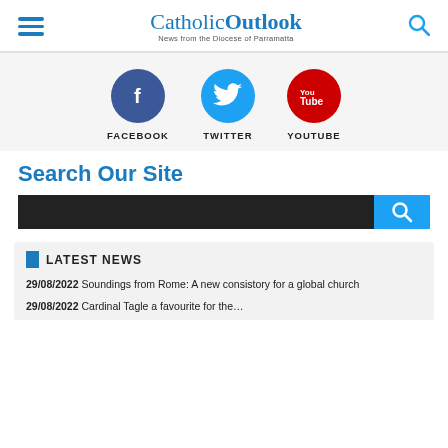CatholicOutlook - News from the Diocese of Parramatta
[Figure (infographic): Social media icons: Facebook (blue circle with f), Twitter (cyan circle with bird), YouTube (red circle with YouTube logo), each with label below]
Search Our Site
[Figure (screenshot): Search bar: dark input field with cyan search button]
LATEST NEWS
29/08/2022  Soundings from Rome: A new consistory for a global church
29/08/2022  Cardinal Tagle a favourite for the...